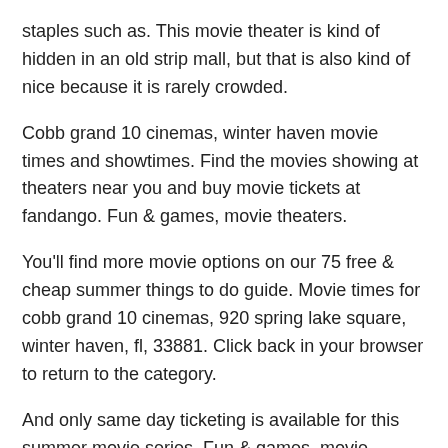staples such as. This movie theater is kind of hidden in an old strip mall, but that is also kind of nice because it is rarely crowded.
Cobb grand 10 cinemas, winter haven movie times and showtimes. Find the movies showing at theaters near you and buy movie tickets at fandango. Fun & games, movie theaters.
You'll find more movie options on our 75 free & cheap summer things to do guide. Movie times for cobb grand 10 cinemas, 920 spring lake square, winter haven, fl, 33881. Click back in your browser to return to the category.
And only same day ticketing is available for this summer movie series. Fun & games, movie theaters. Cobb grand 10 cinemas, winter haven movie times and showtimes.